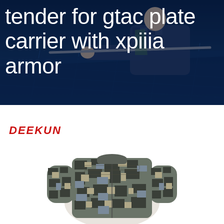[Figure (photo): Photo of a person working on solar panels, dark blue background, hands gripping a metal rod over a solar panel array.]
tender for gtac plate carrier with xpiiia armor
[Figure (logo): DEEKUN brand logo in bold red italic letters]
[Figure (photo): Digital camouflage military jacket/plate carrier in grey-black-blue ACU digital camo pattern, displayed on a mannequin or flat lay, white background.]